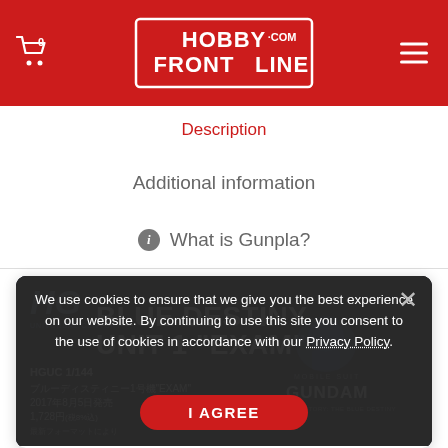HobbyFrontline.com — header with cart, logo, menu
Description
Additional information
What is Gunpla?
[Figure (illustration): HGUC 1/144 Blue Destiny Unit 1 EXAM product banner image with Japanese text, Mobile Suit Gundam Side Story: The Blue Destiny logo, price 1,728 yen, release date 2017年8月5日]
We use cookies to ensure that we give you the best experience on our website. By continuing to use this site you consent to the use of cookies in accordance with our Privacy Policy.
I AGREE